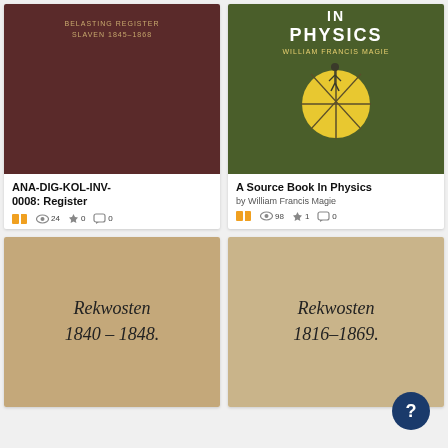[Figure (screenshot): Book cover: dark brown cover with text BELASTING REGISTER SLAVEN 1845-1868]
ANA-DIG-KOL-INV-0008: Register
24 views, 0 favorites, 0 comments
[Figure (screenshot): Book cover: dark green cover with IN PHYSICS title, yellow circle diagram, figure of person, WILLIAM FRANCIS MAGIE]
A Source Book In Physics
by William Francis Magie
98 views, 1 favorite, 0 comments
[Figure (photo): Aged book cover with handwritten script: Rekwosten 1840-1848]
[Figure (photo): Aged book cover with handwritten script: Rekwosten 1816-1869]